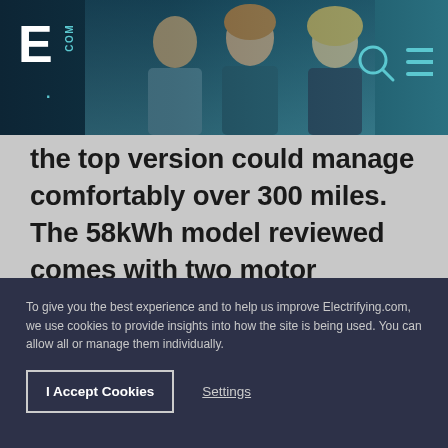Electrifying.com website header with logo and navigation
the top version could manage comfortably over 300 miles. The 58kWh model reviewed comes with two motor options - a 143bhp unit in the Pro models and a 201bhp unit in the Pro Performance models. Unless you really need the extra performance offered by the Pro Performance motor, we reckon the 143bhp motor is the best option. It has more than enough punch to make urban
To give you the best experience and to help us improve Electrifying.com, we use cookies to provide insights into how the site is being used. You can allow all or manage them individually.